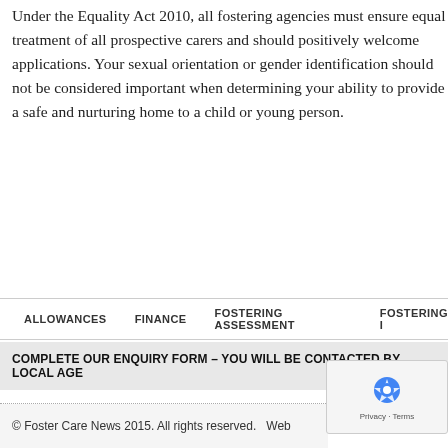Under the Equality Act 2010, all fostering agencies must ensure equal treatment of all prospective carers and should positively welcome applications. Your sexual orientation or gender identification should not be considered important when determining your ability to provide a safe and nurturing home to a child or young person.
ALLOWANCES   FINANCE   FOSTERING ASSESSMENT   FOSTERING I...
COMPLETE OUR ENQUIRY FORM – YOU WILL BE CONTACTED BY LOCAL AGE...
© Foster Care News 2015. All rights reserved.   Web...